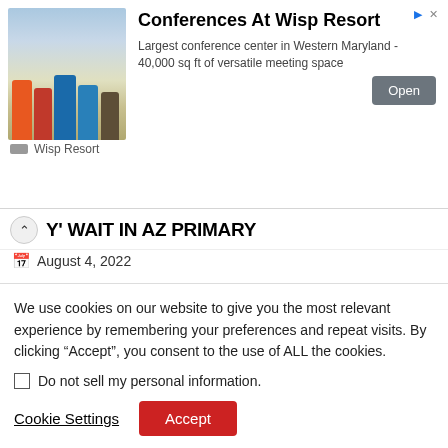[Figure (photo): Advertisement banner for Conferences At Wisp Resort showing people in skiing gear with title, description, Open button, and Wisp Resort branding]
Y' WAIT IN AZ PRIMARY
August 4, 2022
Twenty-four hours after polls closed in the GOP primary for Arizona governor, the race is...
[Figure (photo): Partial image of a person against a golden/yellow background]
We use cookies on our website to give you the most relevant experience by remembering your preferences and repeat visits. By clicking “Accept”, you consent to the use of ALL the cookies.
Do not sell my personal information.
Cookie Settings
Accept